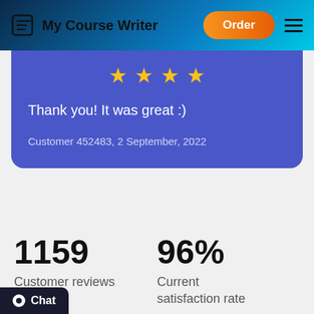My Course Writer | Order
Thank you! It was great :)
Customer 452483, 2 September, 2022
1159
Customer reviews in total
96%
Current satisfaction rate
Chat